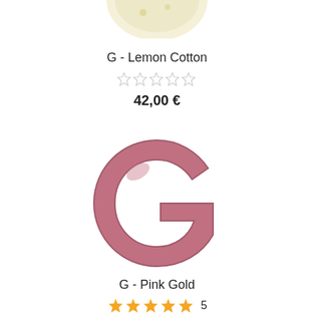[Figure (photo): Partial view of a letter G pillow in lemon/cream color at top of page]
G - Lemon Cotton
☆☆☆☆☆
42,00 €
[Figure (photo): Letter G shaped pillow in dusty pink/mauve color]
G - Pink Gold
★★★★★ 5